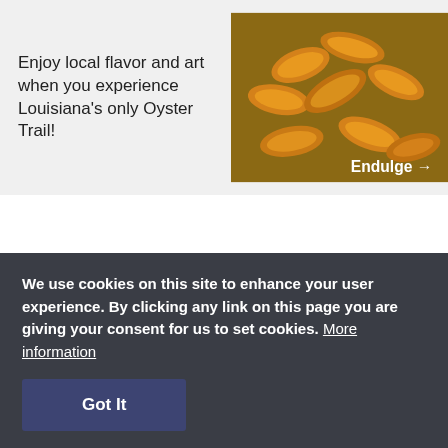Enjoy local flavor and art when you experience Louisiana's only Oyster Trail!
[Figure (photo): Photo of fried shrimp/oysters with 'Endulge →' label overlay]
Follow Your Nose!
Iberia Travel
All roads lead to the World
[Figure (photo): Photo of a man stirring a large pot with steam rising]
We use cookies on this site to enhance your user experience. By clicking any link on this page you are giving your consent for us to set cookies. More information
Got It